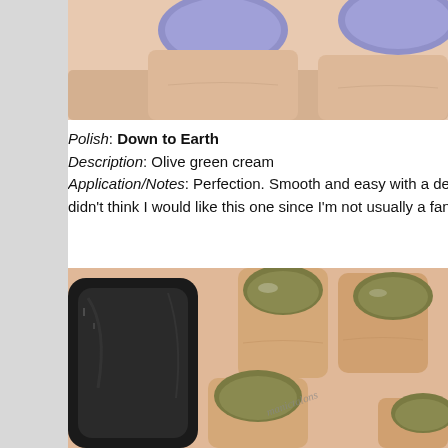[Figure (photo): Close-up of fingernails painted in periwinkle/lavender blue polish on light skin hand]
Polish: Down to Earth
Description:  Olive green cream
Application/Notes:  Perfection.  Smooth and easy with a deep, didn't think I would like this one since I'm not usually a fan of Ea
[Figure (photo): Close-up of fingernails painted in olive green cream polish next to a black nail polish bottle, with manictalons watermark]